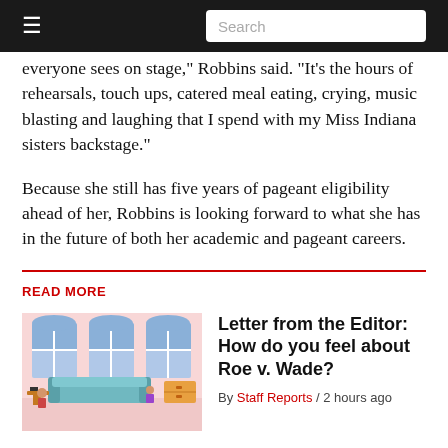Search
everyone sees on stage," Robbins said. "It's the hours of rehearsals, touch ups, catered meal eating, crying, music blasting and laughing that I spend with my Miss Indiana sisters backstage."
Because she still has five years of pageant eligibility ahead of her, Robbins is looking forward to what she has in the future of both her academic and pageant careers.
READ MORE
[Figure (illustration): Illustrated scene of a room interior with blue windows, couch, and furniture on pink background]
Letter from the Editor: How do you feel about Roe v. Wade?
By Staff Reports / 2 hours ago